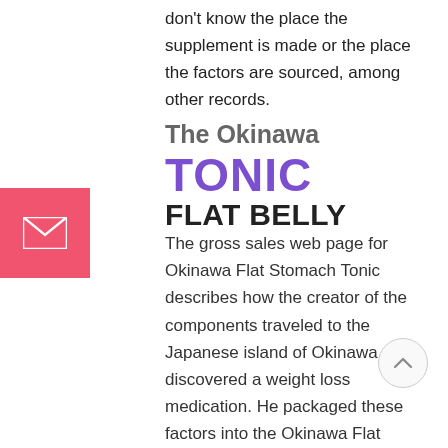don't know the place the supplement is made or the place the factors are sourced, among other records.
The Okinawa FLAT BELLY TONIC
The gross sales web page for Okinawa Flat Stomach Tonic describes how the creator of the components traveled to the Japanese island of Okinawa and discovered a weight loss medication. He packaged these factors into the Okinawa Flat Stomach Tonic components, and now sells the components on-line. Alternatively, it's unclear if that epic is correct or if the person has any clinical or nutritional qualifications.
The Okinawa Flat Stomach Tonic eBooks are written by a man named Mike Banner.